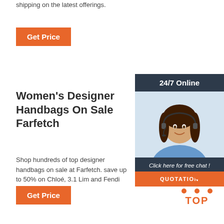shipping on the latest offerings.
Get Price
Women's Designer Handbags On Sale Farfetch
Shop hundreds of top designer handbags on sale at Farfetch. save up to 50% on Chloé, 3.1 Lim and Fendi bags
Get Price
[Figure (other): Customer support chat widget with a woman wearing a headset, '24/7 Online' header, 'Click here for free chat!' text, and 'QUOTATION' button]
[Figure (other): TOP icon with orange dots arranged in a triangle above 'TOP' text in orange]